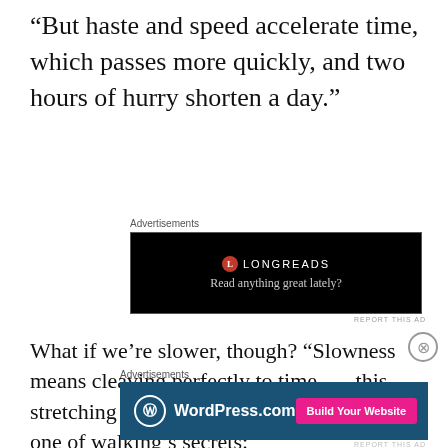“But haste and speed accelerate time, which passes more quickly, and two hours of hurry shorten a day.”
[Figure (screenshot): Longreads advertisement on black background with red circle logo and text 'Read anything great lately?']
What if we’re slower, though? “Slowness means cleaving perfectly to time . . . this stretching of time deepens space.” This is one of walking’s secrets:
[Figure (screenshot): WordPress.com advertisement on dark blue background with WordPress logo and 'Build Your Website' pink button]